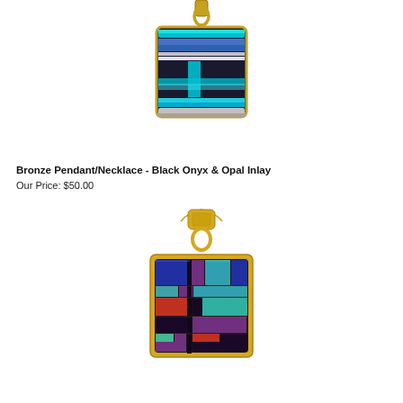[Figure (photo): Bronze Pendant/Necklace with Black Onyx and Opal Inlay - square pendant with gold bail showing turquoise and blue opal inlay pattern on dark background]
Bronze Pendant/Necklace - Black Onyx & Opal Inlay
Our Price: $50.00
[Figure (photo): Second Bronze Pendant/Necklace with multicolor stone inlay - square pendant with gold bail and necklace chain showing colorful mosaic inlay with blue, purple, red, coral, turquoise pieces]